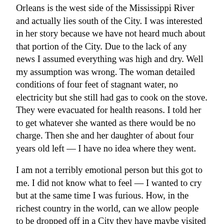Orleans is the west side of the Mississippi River and actually lies south of the City. I was interested in her story because we have not heard much about that portion of the City. Due to the lack of any news I assumed everything was high and dry. Well my assumption was wrong. The woman detailed conditions of four feet of stagnant water, no electricity but she still had gas to cook on the stove. They were evacuated for health reasons. I told her to get whatever she wanted as there would be no charge. Then she and her daughter of about four years old left — I have no idea where they went.
I am not a terribly emotional person but this got to me. I did not know what to feel — I wanted to cry but at the same time I was furious. How, in the richest country in the world, can we allow people to be dropped off in a City they have maybe visited once or twice and allow them to wander the streets hoping that they will meet up with a relative? There is no word in the English vocabulary to describe what is going on.